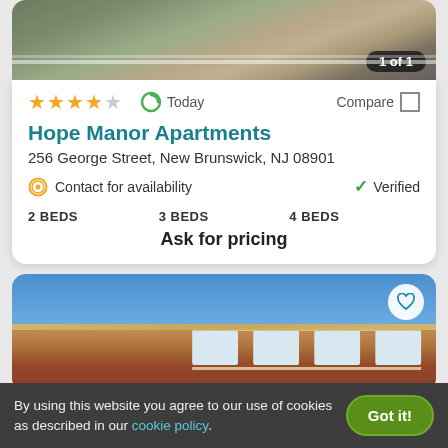[Figure (photo): Top portion of apartment building exterior photo with grass and railing, badge showing '1 of 1']
★★★★☆   Today   Compare □
Hope Manor Apartments
256 George Street, New Brunswick, NJ 08901
⊙ Contact for availability   ✓ Verified
2 BEDS   3 BEDS   4 BEDS
Ask for pricing
[Figure (photo): Brick apartment building exterior photo with blue sky, heart/favorite icon button in top right corner]
By using this website you agree to our use of cookies as described in our cookie policy.   Got it!